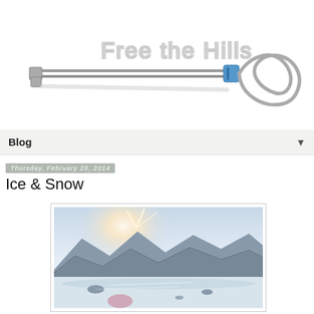[Figure (logo): Free the Hills logo — wire/cable rope arranged in loops with text 'Free the Hills' spelled out in wire-style lettering on white background]
Blog ▼
Thursday, February 20, 2014
Ice & Snow
[Figure (photo): Outdoor mountain landscape photo showing snowy terrain with mountains in background, bright sunlight, person visible at bottom]